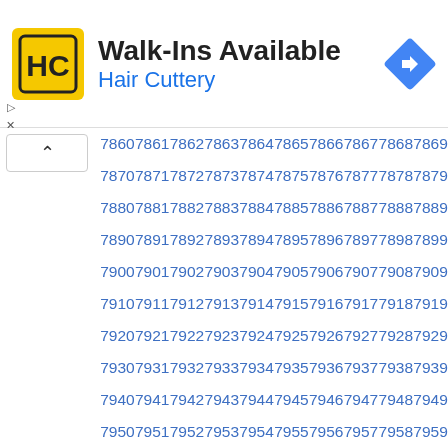[Figure (logo): Hair Cuttery HC logo in yellow square with black border]
Walk-Ins Available
Hair Cuttery
[Figure (other): Blue navigation/directions diamond icon]
7860 7861 7862 7863 7864 7865 7866 7867 7868 7869 7870 7871 7872 7873 7874 7875 7876 7877 7878 7879 7880 7881 7882 7883 7884 7885 7886 7887 7888 7889 7890 7891 7892 7893 7894 7895 7896 7897 7898 7899 7900 7901 7902 7903 7904 7905 7906 7907 7908 7909 7910 7911 7912 7913 7914 7915 7916 7917 7918 7919 7920 7921 7922 7923 7924 7925 7926 7927 7928 7929 7930 7931 7932 7933 7934 7935 7936 7937 7938 7939 7940 7941 7942 7943 7944 7945 7946 7947 7948 7949 7950 7951 7952 7953 7954 7955 7956 7957 7958 7959 7960 7961 7962 7963 7964 7965 7966 7967 7968 7969 7970 7971 7972 7973 7974 7975 7976 7977 7978 7979 7980 7981 7982 7983 7984 7985 7986 7987 7988 7989 7990 7991 7992 7993 7994 7995 7996 7997 7998 7999 8000 8001 8002 8003 8004 8005 8006 8007 8008 8009 8010 8011 8012 8013 8014 8015 8016 8017 8018 8019 8020 8021 8022 8023 8024 8025 8026 8027 8028 8029 8030 8031 8032 8033 8034 8035 8036 8037 8038 8039